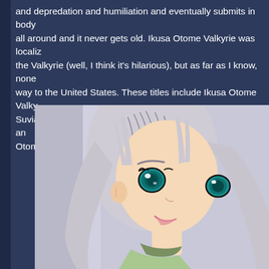and depredation and humiliation and eventually submits in body all around and it never gets old. Ikusa Otome Valkyrie was localized the Valkyrie (well, I think it's hilarious), but as far as I know, none way to the United States. These titles include Ikusa Otome Valky Suvia (Suvia really deserves a figure of her own, by the way), and Otome Valkyrie 2.
[Figure (illustration): Anime character illustration showing a female character with long silver/white hair, large teal/green eyes, wearing a light green top with an olive-colored collar. The character is shown from the shoulders up, with a slight smile.]